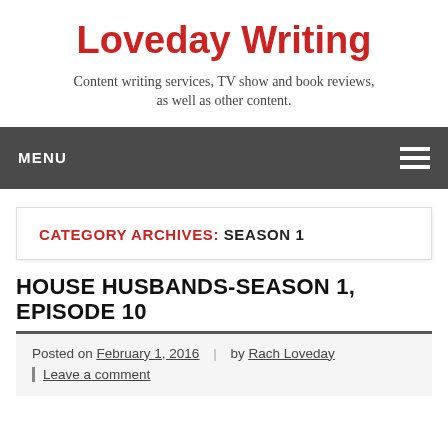Loveday Writing
Content writing services, TV show and book reviews, as well as other content.
MENU
CATEGORY ARCHIVES: SEASON 1
HOUSE HUSBANDS-SEASON 1, EPISODE 10
Posted on February 1, 2016 | by Rach Loveday | Leave a comment